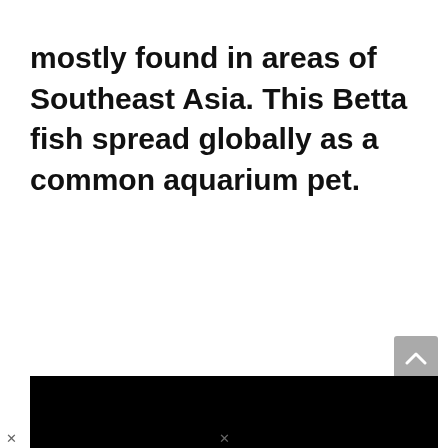mostly found in areas of Southeast Asia. This Betta fish spread globally as a common aquarium pet.
[Figure (other): Black rectangular bar at the bottom of the page, likely a video player or image placeholder. A gray scroll-to-top button with an upward arrow chevron is visible in the lower right above the black bar.]